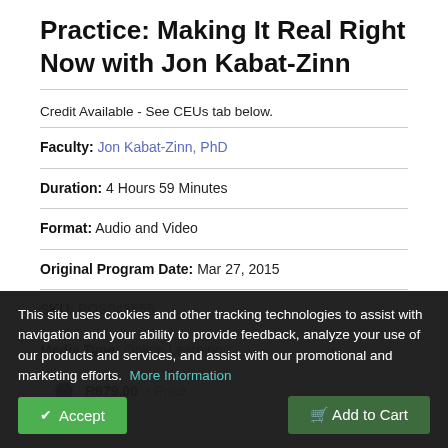Practice: Making It Real Right Now with Jon Kabat-Zinn
Credit Available - See CEUs tab below.
Faculty: Jon Kabat-Zinn, PhD
Duration: 4 Hours 59 Minutes
Format: Audio and Video
Original Program Date: Mar 27, 2015
SKU: POS048555
Media Type: Online Learning
R879.00 - Price
This site uses cookies and other tracking technologies to assist with navigation and your ability to provide feedback, analyze your use of our products and services, and assist with our promotional and marketing efforts. More Information